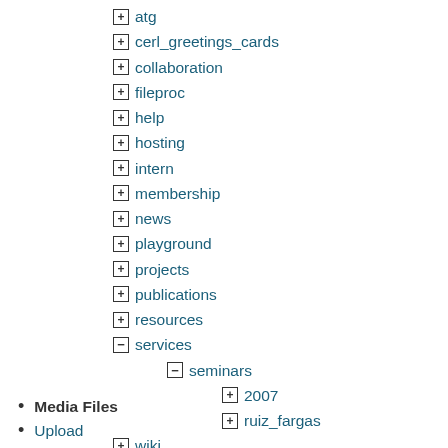+ atg
+ cerl_greetings_cards
+ collaboration
+ fileproc
+ help
+ hosting
+ intern
+ membership
+ news
+ playground
+ projects
+ publications
+ resources
- services
- seminars
+ 2007
+ ruiz_fargas
+ wiki
Media Files
Upload
Search